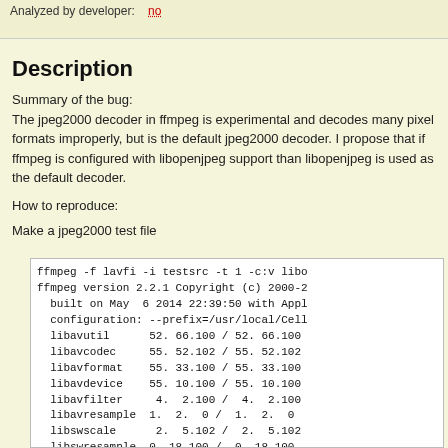Analyzed by developer: no
Description
Summary of the bug:
The jpeg2000 decoder in ffmpeg is experimental and decodes many pixel formats improperly, but is the default jpeg2000 decoder. I propose that if ffmpeg is configured with libopenjpeg support than libopenjpeg is used as the default decoder.
How to reproduce:
Make a jpeg2000 test file
[Figure (screenshot): Terminal output showing ffmpeg command and version info with library versions and input duration details]